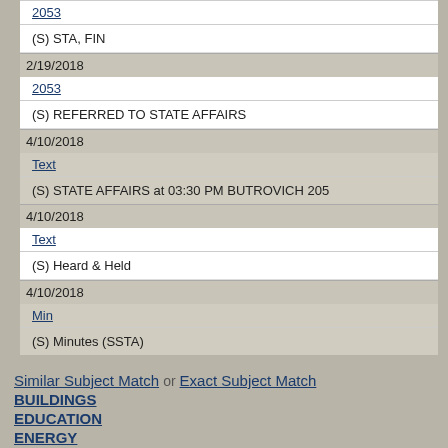| Date | Document | Description |
| --- | --- | --- |
|  | 2053 (link) | (S) STA, FIN |
| 2/19/2018 | 2053 (link) | (S) REFERRED TO STATE AFFAIRS |
| 4/10/2018 | Text (link) | (S) STATE AFFAIRS at 03:30 PM BUTROVICH 205 |
| 4/10/2018 | Text (link) | (S) Heard & Held |
| 4/10/2018 | Min (link) | (S) Minutes (SSTA) |
Similar Subject Match or Exact Subject Match
BUILDINGS
EDUCATION
ENERGY
ENVIRONMENTAL CONCERNS